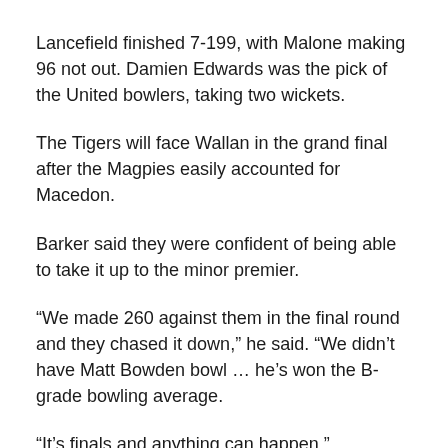Lancefield finished 7-199, with Malone making 96 not out. Damien Edwards was the pick of the United bowlers, taking two wickets.
The Tigers will face Wallan in the grand final after the Magpies easily accounted for Macedon.
Barker said they were confident of being able to take it up to the minor premier.
“We made 260 against them in the final round and they chased it down,” he said. “We didn’t have Matt Bowden bowl … he’s won the B-grade bowling average.
“It’s finals and anything can happen.”